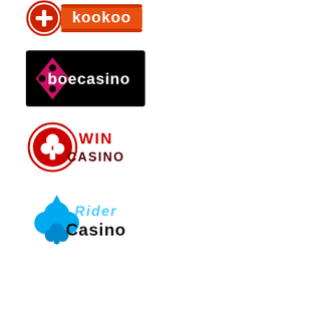[Figure (logo): KooKoo logo: circular icon with a plus/cross symbol on the left, text 'kookoo' in stylized font on orange/red background with decorative border]
[Figure (logo): BoeCasino logo: black rectangular background with pink diamond shape containing four dots icon on left, white text 'boecasino']
[Figure (logo): Win Casino logo: red circular emblem with tree/club symbol on left, red and dark red text 'WIN CASINO']
[Figure (logo): Rider Casino logo: light blue spade/club icon on left, light blue stylized text 'Rider' above dark bold text 'Casino']